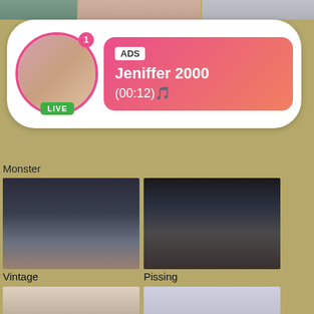[Figure (screenshot): Adult content website screenshot showing a notification popup with 'ADS Jeniffer 2000 (00:12)' with LIVE badge, and a grid of adult video category thumbnails labeled: Monster, Vintage, Pissing, Maid, Twink, and two more partial thumbnails at bottom.]
ADS
Jeniffer 2000
(00:12)🎵
Monster
Vintage
Pissing
Maid
Twink